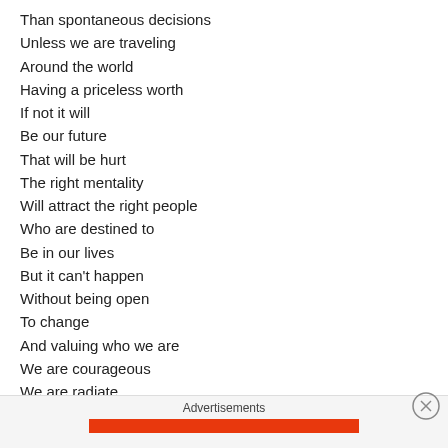Than spontaneous decisions
Unless we are traveling
Around the world
Having a priceless worth
If not it will
Be our future
That will be hurt
The right mentality
Will attract the right people
Who are destined to
Be in our lives
But it can't happen
Without being open
To change
And valuing who we are
We are courageous
We are radiate
We are brilliant
We are a gift
Anyone who says or thinks different
Is out of place
Advertisements